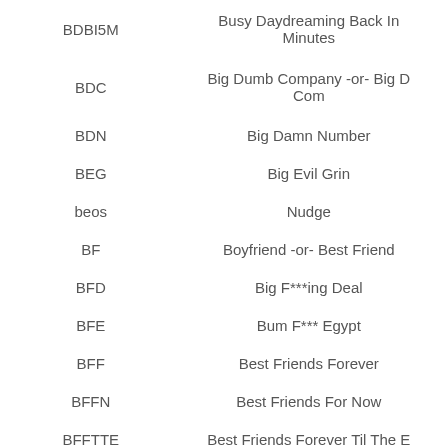| Abbreviation | Meaning |
| --- | --- |
| BDBI5M | Busy Daydreaming Back In Minutes |
| BDC | Big Dumb Company -or- Big D Com |
| BDN | Big Damn Number |
| BEG | Big Evil Grin |
| beos | Nudge |
| BF | Boyfriend -or- Best Friend |
| BFD | Big F***ing Deal |
| BFE | Bum F*** Egypt |
| BFF | Best Friends Forever |
| BFFN | Best Friends For Now |
| BFFTTE | Best Friends Forever Til The E |